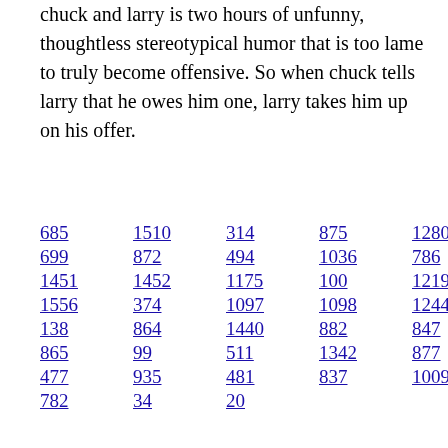sandler kevin james. I now pronounce you chuck and larry is two hours of unfunny, thoughtless stereotypical humor that is too lame to truly become offensive. So when chuck tells larry that he owes him one, larry takes him up on his offer.
685  1510  314  875  1280  1360
699  872  494  1036  786  572
1451  1452  1175  100  1219  1224
1556  374  1097  1098  1244  716
138  864  1440  882  847  650
865  99  511  1342  877  1333
477  935  481  837  1009  706
782  34  20